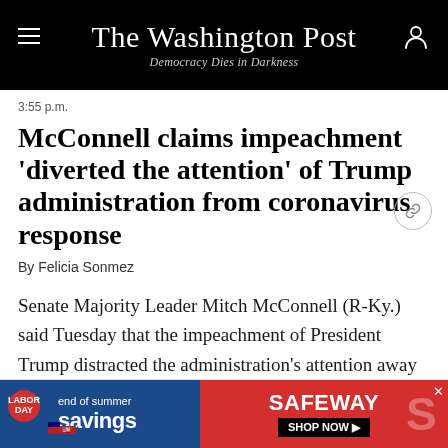The Washington Post
Democracy Dies in Darkness
3:55 p.m.
McConnell claims impeachment 'diverted the attention' of Trump administration from coronavirus response
By Felicia Sonmez
Senate Majority Leader Mitch McConnell (R-Ky.) said Tuesday that the impeachment of President Trump distracted the administration's attention away from the coronavirus crisis, defending the president amid
[Figure (other): Advertisement banner for Safeway 'end of summer savings' sale featuring Labor Day badge on blue background and Safeway logo on red background with 'SHOP NOW' button]